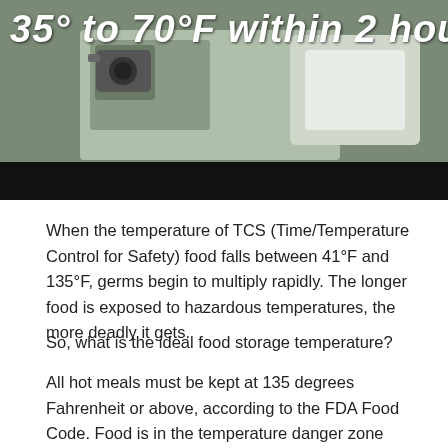[Figure (photo): A food safety image showing text '35° to 70°F within 2 hours' overlaid on a kitchen/food scene photograph with a dark black banner at the bottom.]
When the temperature of TCS (Time/Temperature Control for Safety) food falls between 41°F and 135°F, germs begin to multiply rapidly. The longer food is exposed to hazardous temperatures, the more deadly it gets.
So, what is the ideal food storage temperature?
All hot meals must be kept at 135 degrees Fahrenheit or above, according to the FDA Food Code. Food is in the temperature danger zone when temperatures drop below 135°F, at temperatures where germs can rapidly...